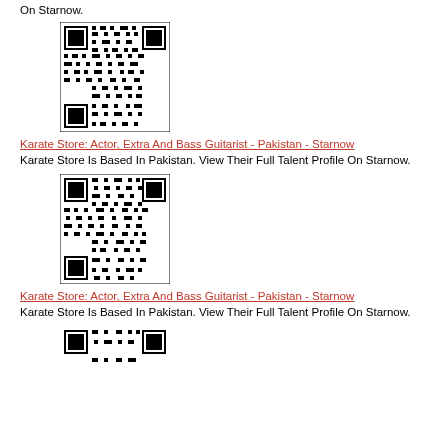On Starnow.
[Figure (other): QR code for Karate Store talent profile on Starnow]
Karate Store: Actor, Extra And Bass Guitarist - Pakistan - Starnow
Karate Store Is Based In Pakistan. View Their Full Talent Profile On Starnow.
[Figure (other): QR code for Karate Store talent profile on Starnow]
Karate Store: Actor, Extra And Bass Guitarist - Pakistan - Starnow
Karate Store Is Based In Pakistan. View Their Full Talent Profile On Starnow.
[Figure (other): QR code for Karate Store talent profile on Starnow (partial, bottom of page)]